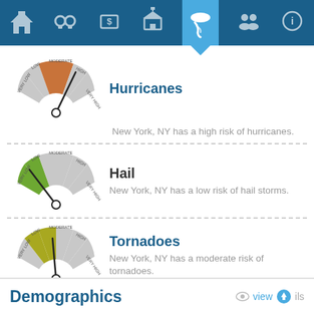Navigation bar with icons: home, crime, cost, schools, weather (active), community, info
[Figure (other): Semicircular gauge meter showing HIGH risk level for hurricanes, needle pointing to high/orange zone]
Hurricanes
New York, NY has a high risk of hurricanes.
[Figure (other): Semicircular gauge meter showing LOW risk level for hail, needle pointing to low/green zone]
Hail
New York, NY has a low risk of hail storms.
[Figure (other): Semicircular gauge meter showing MODERATE risk level for tornadoes, needle pointing to moderate/yellow-green zone]
Tornadoes
New York, NY has a moderate risk of tornadoes.
Demographics
view details